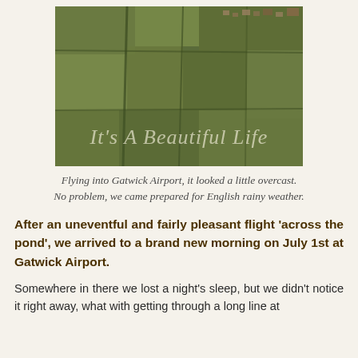[Figure (photo): Aerial photograph of English countryside near Gatwick Airport showing green fields, hedgerows, and a small village, with a watermark reading "It's A Beautiful Life" in cursive script overlaid on the lower portion of the image.]
Flying into Gatwick Airport, it looked a little overcast. No problem, we came prepared for English rainy weather.
After an uneventful and fairly pleasant flight 'across the pond', we arrived to a brand new morning on July 1st at Gatwick Airport.
Somewhere in there we lost a night's sleep, but we didn't notice it right away, what with getting through a long line at